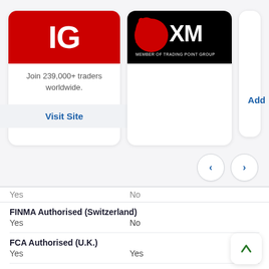[Figure (logo): IG broker card with red IG logo, tagline 'Join 239,000+ traders worldwide.' and Visit Site button]
[Figure (logo): XM broker card with black background XM logo 'Member of Trading Point Group']
Add
Yes   No
FINMA Authorised (Switzerland)
Yes   No
FCA Authorised (U.K.)
Yes   Yes
CFTC Registered (USA)
Yes   Yes